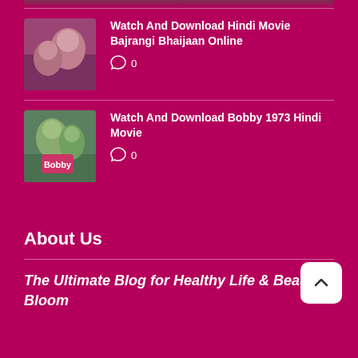[Figure (photo): Partial thumbnail image at top of page (cropped movie poster)]
Watch And Download Hindi Movie Bajrangi Bhaijaan Online
0
Watch And Download Bobby 1973 Hindi Movie
0
About Us
The Ultimate Blog for Healthy Life & Beauty Bloom